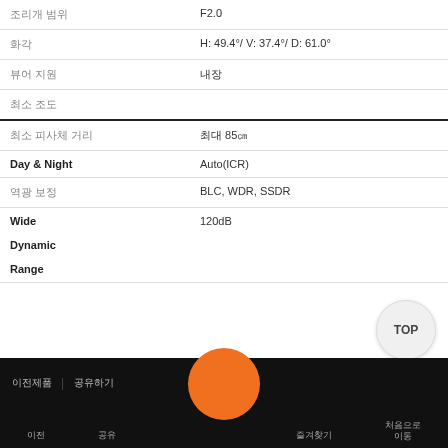| 속성 | 값 |
| --- | --- |
| 조리개 범위 | F2.0 |
| 화각 | H: 49.4°/ V: 37.4°/ D: 61.0° |
| 뷰어 지원 | 내장 |
| 최소 조도 |
| 최소 피사체 거리 | 최대 85㎝ |
| Day & Night | Auto(ICR) |
| 역광 보정 | BLC, WDR, SSDR |
| Wide
Dynamic
Range | 120dB |
[Figure (other): TOP navigation button - circular button with 'TOP' label]
이전제품 | 공유하기 | [orange circle button] | 즐겨찾기 | 처음으로 이동